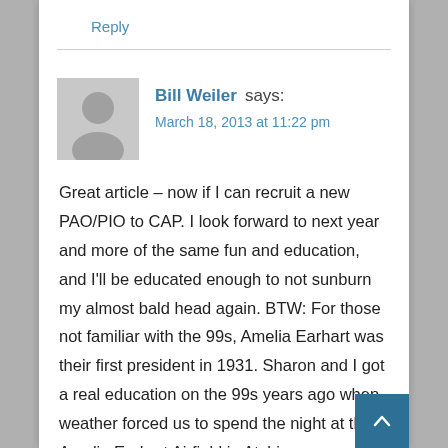Reply
Bill Weiler says:
March 18, 2013 at 11:22 pm
Great article – now if I can recruit a new PAO/PIO to CAP. I look forward to next year and more of the same fun and education, and I'll be educated enough to not sunburn my almost bald head again. BTW: For those not familiar with the 99s, Amelia Earhart was their first president in 1931. Sharon and I got a real education on the 99s years ago when weather forced us to spend the night at the Amelia Earhart Airfield in Atchison